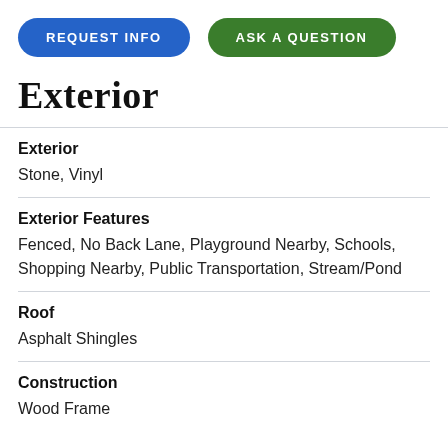[Figure (other): Two pill-shaped buttons: 'REQUEST INFO' in blue and 'ASK A QUESTION' in green]
Exterior
Exterior
Stone, Vinyl
Exterior Features
Fenced, No Back Lane, Playground Nearby, Schools, Shopping Nearby, Public Transportation, Stream/Pond
Roof
Asphalt Shingles
Construction
Wood Frame